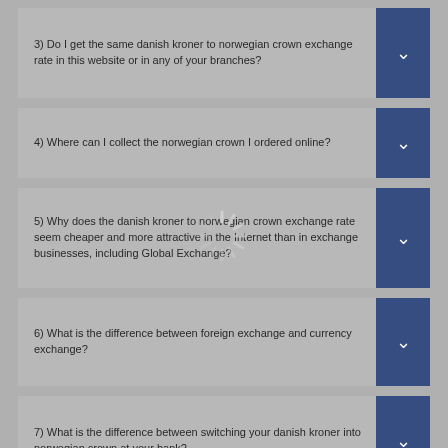3) Do I get the same danish kroner to norwegian crown exchange rate in this website or in any of your branches?
4) Where can I collect the norwegian crown I ordered online?
5) Why does the danish kroner to norwegian crown exchange rate seem cheaper and more attractive in the Internet than in exchange businesses, including Global Exchange?
6) What is the difference between foreign exchange and currency exchange?
7) What is the difference between switching your danish kroner into norwegian crown at your bank?